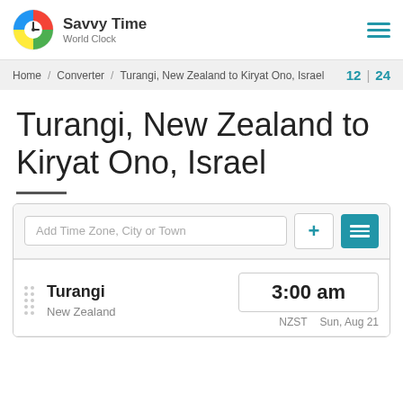[Figure (logo): Savvy Time World Clock logo with colorful clock icon]
Home / Converter / Turangi, New Zealand to Kiryat Ono, Israel  12 | 24
Turangi, New Zealand to Kiryat Ono, Israel
Add Time Zone, City or Town
| City | Time | Timezone | Date |
| --- | --- | --- | --- |
| Turangi | 3:00 am | NZST | Sun, Aug 21 |